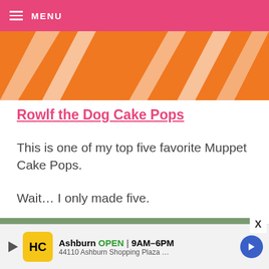≡ MENU
[Figure (photo): Orange and white striped background image, partially cropped at top]
Rowlf the Dog Cake Pops
This is one of my top five favorite Muppet Cake Pops.
Wait... I only made five.
[Figure (photo): Partially visible photo of Rowlf the Dog cake pops on a green background]
Ashburn OPEN 9AM–6PM 44110 Ashburn Shopping Plaza ...